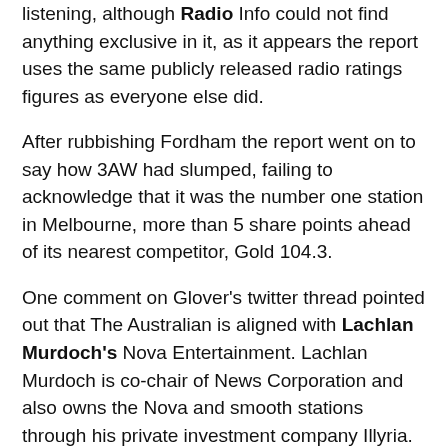listening, although Radio Info could not find anything exclusive in it, as it appears the report uses the same publicly released radio ratings figures as everyone else did.
After rubbishing Fordham the report went on to say how 3AW had slumped, failing to acknowledge that it was the number one station in Melbourne, more than 5 share points ahead of its nearest competitor, Gold 104.3.
One comment on Glover's twitter thread pointed out that The Australian is aligned with Lachlan Murdoch's Nova Entertainment. Lachlan Murdoch is co-chair of News Corporation and also owns the Nova and smooth stations through his private investment company Illyria.